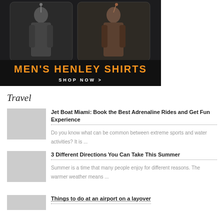[Figure (photo): Advertisement banner for Men's Henley Shirts showing two male models wearing henley shirts, with orange text 'MEN'S HENLEY SHIRTS' and 'SHOP NOW >']
Travel
Jet Boat Miami: Book the Best Adrenaline Rides and Get Fun Experience
Do you know what can be common between extreme sports and water activities? It is ...
3 Different Directions You Can Take This Summer
Summer is a time that many people enjoy for different reasons. The warmer weather means ...
Things to do at an airport on a layover